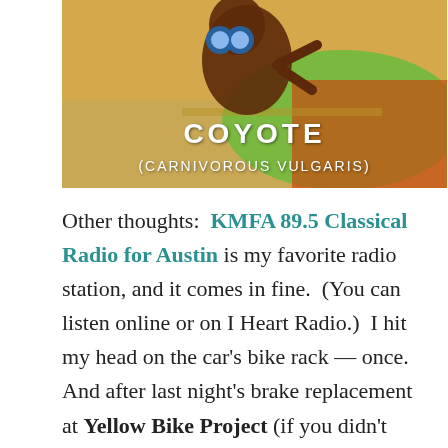[Figure (illustration): Animated cartoon coyote from Looney Tunes with text overlay reading 'COYOTE (CARNIVOROUS VULGARIS)' on a desert background]
Other thoughts:  KMFA 89.5 Classical Radio for Austin is my favorite radio station, and it comes in fine.  (You can listen online or on I Heart Radio.)  I hit my head on the car's bike rack — once.  And after last night's brake replacement at Yellow Bike Project (if you didn't read Monday night's blog, here's the link), I am just waiting word from the doctor if I can try to hit the hills again.  Meanwhile, I brought my rusty, trusty trainer and hope to put in a few sessions if the weather still stinks and as my nerve and energy allow me to ride, or rather logic has me not ride the